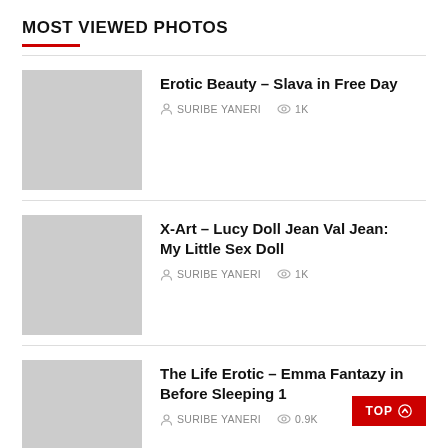MOST VIEWED PHOTOS
Erotic Beauty – Slava in Free Day | SURIBE YANERI | 1K
X-Art – Lucy Doll Jean Val Jean: My Little Sex Doll | SURIBE YANERI | 1K
The Life Erotic – Emma Fantazy in Before Sleeping 1 | SURIBE YANERI | 0.9K